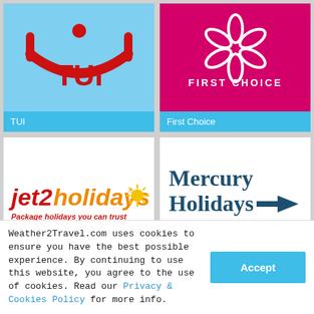[Figure (logo): TUI logo on light blue background with red TUI smile symbol and TUI text]
TUI
[Figure (logo): First Choice logo on dark pink/magenta background with white flower symbol and FIRST CHOICE text in white]
First Choice
[Figure (logo): Jet2holidays logo with red and orange text, sun icon, tagline: Package holidays you can trust]
Jet2holidays
[Figure (logo): Mercury Holidays logo with dark teal text and arrow, tagline: Altogether Better in teal]
Mercury Holidays
Weather2Travel.com uses cookies to ensure you have the best possible experience. By continuing to use this website, you agree to the use of cookies. Read our Privacy & Cookies Policy for more info.